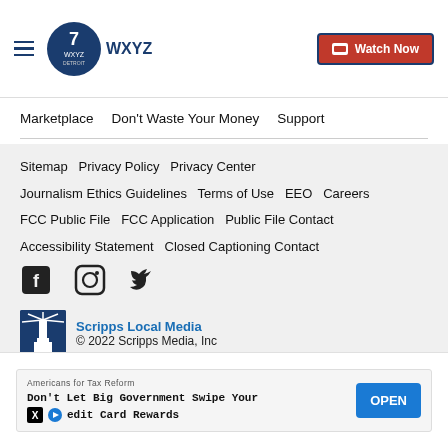WXYZ Detroit — Watch Now
Marketplace   Don't Waste Your Money   Support
Sitemap   Privacy Policy   Privacy Center   Journalism Ethics Guidelines   Terms of Use   EEO   Careers   FCC Public File   FCC Application   Public File Contact   Accessibility Statement   Closed Captioning Contact
[Figure (logo): Scripps Local Media logo with lighthouse icon]
Scripps Local Media
© 2022 Scripps Media, Inc
Give Light and the People Will Find Their Own Way
[Figure (infographic): Advertisement banner: Americans for Tax Reform — Don't Let Big Government Swipe Your Credit Card Rewards — OPEN button]